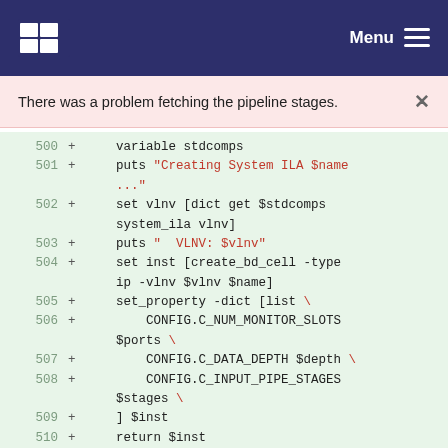Menu
There was a problem fetching the pipeline stages.
500 + variable stdcomps
501 + puts "Creating System ILA $name ..."
502 + set vlnv [dict get $stdcomps system_ila vlnv]
503 + puts "  VLNV: $vlnv"
504 + set inst [create_bd_cell -type ip -vlnv $vlnv $name]
505 + set_property -dict [list \
506 + CONFIG.C_NUM_MONITOR_SLOTS $ports \
507 + CONFIG.C_DATA_DEPTH $depth \
508 + CONFIG.C_INPUT_PIPE_STAGES $stages \
509 + ] $inst
510 + return $inst
511 + }